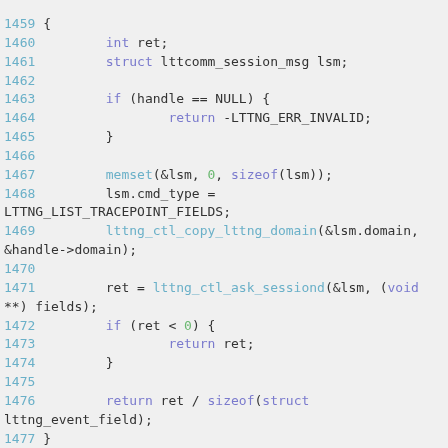Code listing showing C function body, lines 1459-1479, including lttng_ctl operations with memset, lttng_ctl_copy_lttng_domain, lttng_ctl_ask_sessiond calls